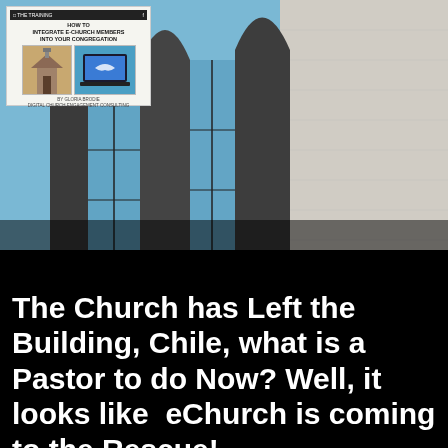[Figure (photo): Photo of a church building exterior with tall Gothic arched windows and stone facade viewed from below against a blue sky. An overlay card in the top-left corner shows a social media post with text about integrating e-church members into congregation, with small images of a church and a laptop.]
The Church has Left the Building, Chile, what is a Pastor to do Now? Well, it looks like  eChurch is coming to the Rescue!